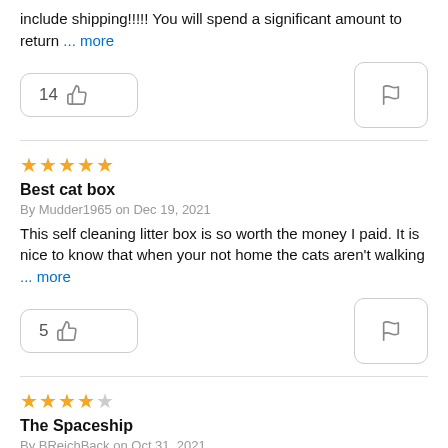include shipping!!!!! You will spend a significant amount to return ... more
14 [thumbs up] [flag]
★★★★★ Best cat box
By Mudder1965 on Dec 19, 2021
This self cleaning litter box is so worth the money I paid. It is nice to know that when your not home the cats aren't walking ... more
5 [thumbs up] [flag]
★★★★☆ The Spaceship
By BReichBack on Oct 31, 2021
This thing looks like a spaceship for your cat and we like it